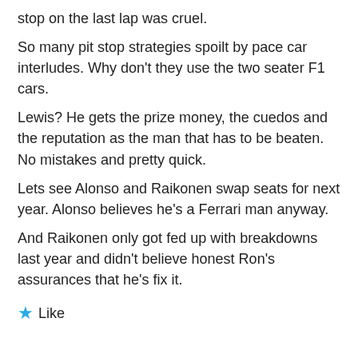stop on the last lap was cruel.
So many pit stop strategies spoilt by pace car interludes. Why don't they use the two seater F1 cars.
Lewis? He gets the prize money, the cuedos and the reputation as the man that has to be beaten. No mistakes and pretty quick.
Lets see Alonso and Raikonen swap seats for next year. Alonso believes he's a Ferrari man anyway.
And Raikonen only got fed up with breakdowns last year and didn't believe honest Ron's assurances that he's fix it.
Like